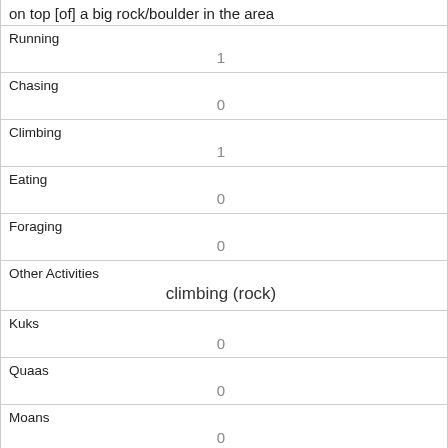| on top [of] a big rock/boulder in the area |  |
| Running | 1 |
| Chasing | 0 |
| Climbing | 1 |
| Eating | 0 |
| Foraging | 0 |
| Other Activities | climbing (rock) |
| Kuks | 0 |
| Quaas | 0 |
| Moans | 0 |
| Tail flags | 0 |